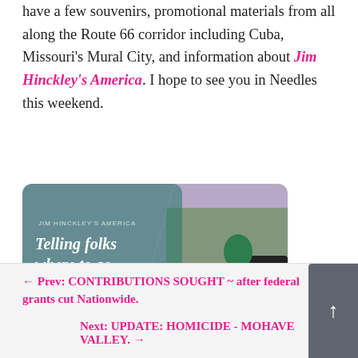have a few souvenirs, promotional materials from all along the Route 66 corridor including Cuba, Missouri's Mural City, and information about Jim Hinckley's America. I hope to see you in Needles this weekend.
[Figure (photo): Jim Hinckley's America promotional banner image showing a vintage car and outdoor scene. Text overlay reads: 'JIM HINCKLEY'S AMERICA', 'Telling folks where to go since 1990', 'BOOKS, BLOG POSTS, VIDEOS, FACEBOOK LIVE']
Written by Jim Hinckley of Jim Hinckley's America.
← Prev: CONTRIBUTIONS SOUGHT ~ after federal grants cut Nationwide.
Next: UPDATE: HOMICIDE - MOHAVE VALLEY. →